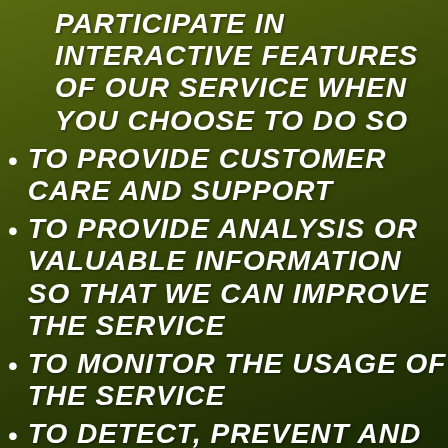PARTICIPATE IN INTERACTIVE FEATURES OF OUR SERVICE WHEN YOU CHOOSE TO DO SO
TO PROVIDE CUSTOMER CARE AND SUPPORT
TO PROVIDE ANALYSIS OR VALUABLE INFORMATION SO THAT WE CAN IMPROVE THE SERVICE
TO MONITOR THE USAGE OF THE SERVICE
TO DETECT, PREVENT AND